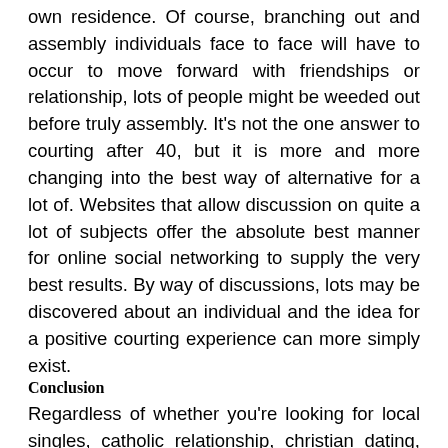own residence. Of course, branching out and assembly individuals face to face will have to occur to move forward with friendships or relationship, lots of people might be weeded out before truly assembly. It's not the one answer to courting after 40, but it is more and more changing into the best way of alternative for a lot of. Websites that allow discussion on quite a lot of subjects offer the absolute best manner for online social networking to supply the very best results. By way of discussions, lots may be discovered about an individual and the idea for a positive courting experience can more simply exist.
Conclusion
Regardless of whether you're looking for local singles, catholic relationship, christian dating, orthodox singles, expat singles or worldwide relationship, free on the internet courting agency will always offer you a loyal point